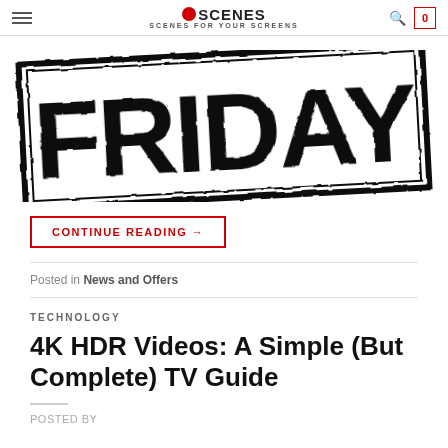OSCENES SCENES FOR YOUR SCREENS
[Figure (illustration): A large rubber stamp-style image with the word FRIDAY in bold distressed black letters inside a rectangular border, slightly rotated.]
CONTINUE READING →
Posted in News and Offers
TECHNOLOGY
4K HDR Videos: A Simple (But Complete) TV Guide
POSTED BY...